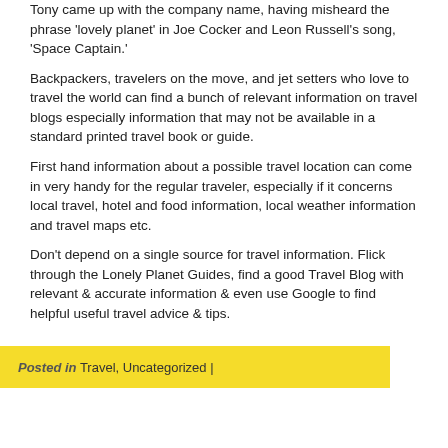Tony came up with the company name, having misheard the phrase 'lovely planet' in Joe Cocker and Leon Russell's song, 'Space Captain.' Backpackers, travelers on the move, and jet setters who love to travel the world can find a bunch of relevant information on travel blogs especially information that may not be available in a standard printed travel book or guide. First hand information about a possible travel location can come in very handy for the regular traveler, especially if it concerns local travel, hotel and food information, local weather information and travel maps etc. Don't depend on a single source for travel information. Flick through the Lonely Planet Guides, find a good Travel Blog with relevant & accurate information & even use Google to find helpful useful travel advice & tips.
Posted in Travel, Uncategorized |